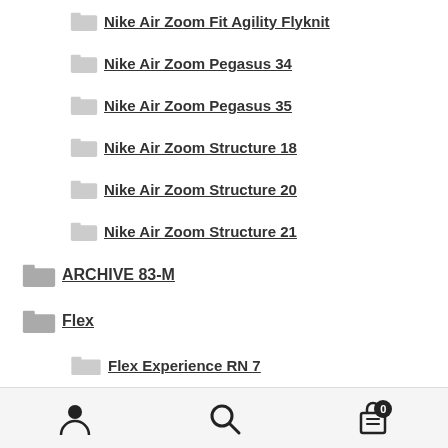Nike Air Zoom Fit Agility Flyknit
Nike Air Zoom Pegasus 34
Nike Air Zoom Pegasus 35
Nike Air Zoom Structure 18
Nike Air Zoom Structure 20
Nike Air Zoom Structure 21
ARCHIVE 83-M
Flex
Flex Experience RN 7
FREE RUN
Nike Free 3.0
User | Search | Cart (0)